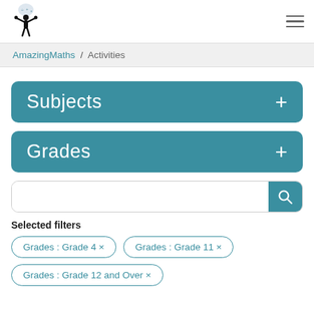[Figure (logo): AmazingMaths logo: silhouette of a person juggling math symbols]
AmazingMaths / Activities
Subjects +
Grades +
[Figure (screenshot): Search input bar with teal search icon button]
Selected filters
Grades : Grade 4 ×
Grades : Grade 11 ×
Grades : Grade 12 and Over ×